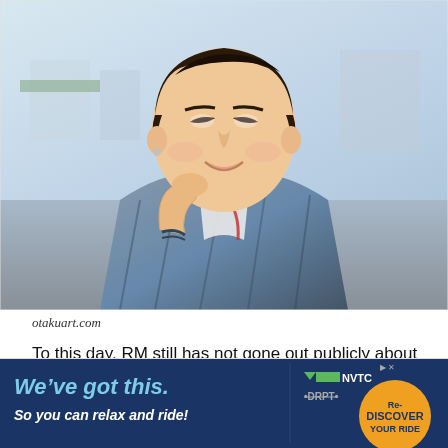[Figure (photo): Portrait photo of a young East Asian man (RM from BTS) smiling, resting his chin on his hand, wearing a plaid shirt with a red lanyard, against an outdoor blurred urban/waterfront background.]
otakuart.com
To this day, RM still has not gone out publicly about any relationships. His relationship status is something that is t to state, and other members of BTS are also not yet
[Figure (infographic): Advertisement banner: 'We've got this. So you can relax and ride!' with NVTC and DRPT logos and 'Re-DISCOVER YOUR RIDE' text on a dark blue background.]